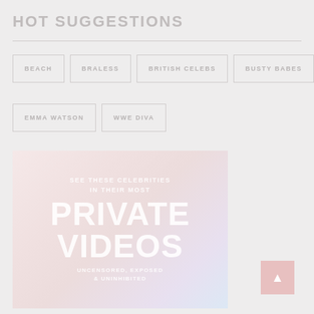HOT SUGGESTIONS
BEACH
BRALESS
BRITISH CELEBS
BUSTY BABES
EMMA WATSON
WWE DIVA
[Figure (illustration): Advertisement banner with text: SEE THESE CELEBRITIES IN THEIR MOST PRIVATE VIDEOS UNCENSORED, EXPOSED & UNINHIBITED on a soft pink/lavender gradient background]